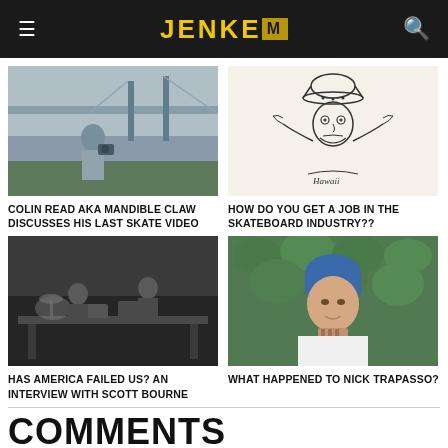JENKEM
[Figure (photo): Man holding camera on rooftop with bridge in background, black and white]
COLIN READ AKA MANDIBLE CLAW DISCUSSES HIS LAST SKATE VIDEO
[Figure (illustration): Cartoon sketch of a man with hat shrugging, labeled Hawaii]
HOW DO YOU GET A JOB IN THE SKATEBOARD INDUSTRY??
[Figure (photo): Two people at a recording studio desk, black and white photo]
HAS AMERICA FAILED US? AN INTERVIEW WITH SCOTT BOURNE
[Figure (photo): Young tattooed man wearing a blue beanie in front of green hedge]
WHAT HAPPENED TO NICK TRAPASSO?
COMMENTS